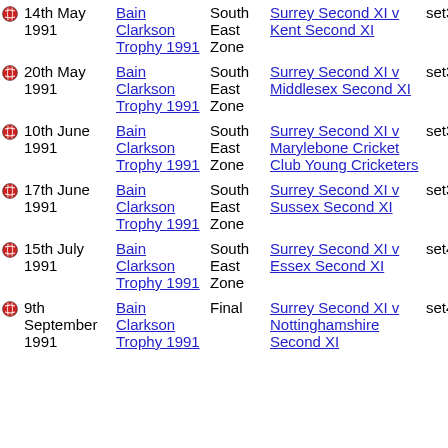14th May 1991 | Bain Clarkson Trophy 1991 | South East Zone | Surrey Second XI v Kent Second XI | set361
20th May 1991 | Bain Clarkson Trophy 1991 | South East Zone | Surrey Second XI v Middlesex Second XI | set366
10th June 1991 | Bain Clarkson Trophy 1991 | South East Zone | Surrey Second XI v Marylebone Cricket Club Young Cricketers | set388
17th June 1991 | Bain Clarkson Trophy 1991 | South East Zone | Surrey Second XI v Sussex Second XI | set394
15th July 1991 | Bain Clarkson Trophy 1991 | South East Zone | Surrey Second XI v Essex Second XI | set417
9th September 1991 | Bain Clarkson Trophy 1991 | Final | Surrey Second XI v Nottinghamshire Second XI | set435